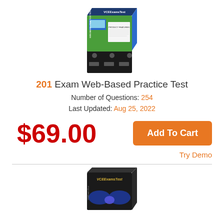[Figure (illustration): VCEExamsTest product box for Web-Based Practice Test - green/black box with monitor graphic]
201 Exam Web-Based Practice Test
Number of Questions: 254
Last Updated: Aug 25, 2022
$69.00
Add To Cart
Try Demo
[Figure (illustration): VCEExamsTest product box - dark/black box with blue wing graphic (partially visible)]